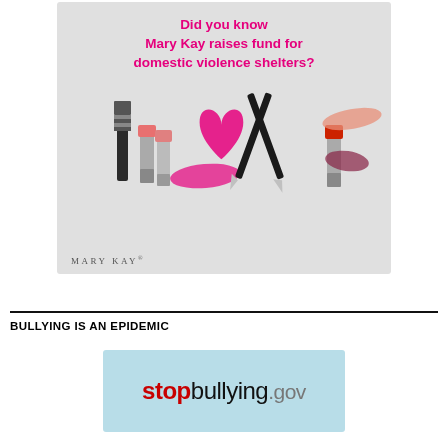[Figure (photo): Mary Kay advertisement with text 'Did you know Mary Kay raises fund for domestic violence shelters?' in magenta/pink text over a light gray background, featuring an 'I LOVE' design made from Mary Kay lipsticks, mascara, eyeliner pencils, and lip color smears. Mary Kay logo at bottom left.]
BULLYING IS AN EPIDEMIC
[Figure (logo): stopbullying.gov logo on a light blue background. 'stop' in bold red, 'bullying' in black normal weight, '.gov' in gray.]